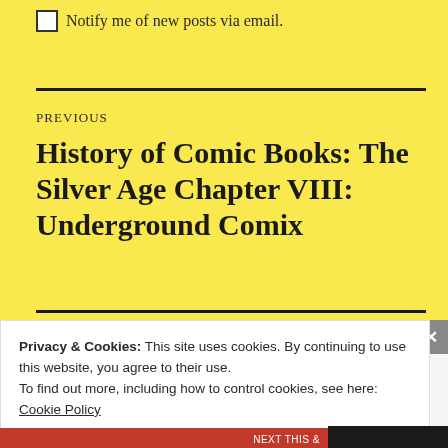Notify me of new posts via email.
PREVIOUS
History of Comic Books: The Silver Age Chapter VIII: Underground Comix
Privacy & Cookies: This site uses cookies. By continuing to use this website, you agree to their use.
To find out more, including how to control cookies, see here: Cookie Policy
Close and accept